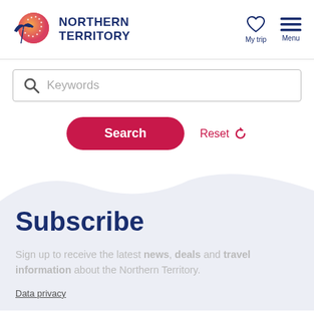[Figure (logo): Northern Territory Australia logo with bird and orange/red circular design]
NORTHERN TERRITORY
[Figure (other): Heart icon labeled My trip and hamburger menu icon labeled Menu]
[Figure (screenshot): Search box with magnifier icon and Keywords placeholder text]
[Figure (other): Search button (red/pink rounded) and Reset button with refresh icon]
Subscribe
Sign up to receive the latest news, deals and travel information about the Northern Territory.
Data privacy